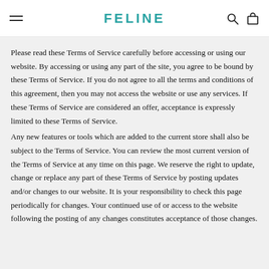FELINE
Please read these Terms of Service carefully before accessing or using our website. By accessing or using any part of the site, you agree to be bound by these Terms of Service. If you do not agree to all the terms and conditions of this agreement, then you may not access the website or use any services. If these Terms of Service are considered an offer, acceptance is expressly limited to these Terms of Service.
Any new features or tools which are added to the current store shall also be subject to the Terms of Service. You can review the most current version of the Terms of Service at any time on this page. We reserve the right to update, change or replace any part of these Terms of Service by posting updates and/or changes to our website. It is your responsibility to check this page periodically for changes. Your continued use of or access to the website following the posting of any changes constitutes acceptance of those changes.